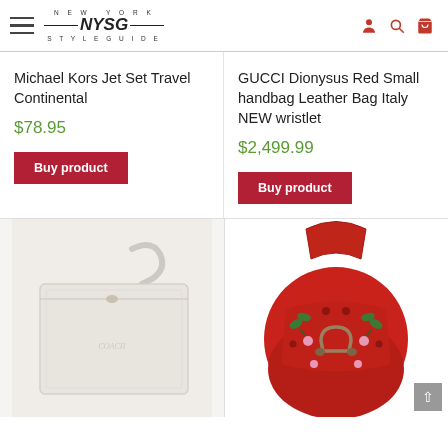NEW YORK NYSG STYLEGUIDE
Michael Kors Jet Set Travel Continental
$78.95
Buy product
GUCCI Dionysus Red Small handbag Leather Bag Italy NEW wristlet
$2,499.99
Buy product
[Figure (photo): White/cream leather Coach wristlet wallet with wrist strap]
[Figure (photo): Red leather Gucci Dionysus handbag with green floral embroidery and horseshoe-style clasp]